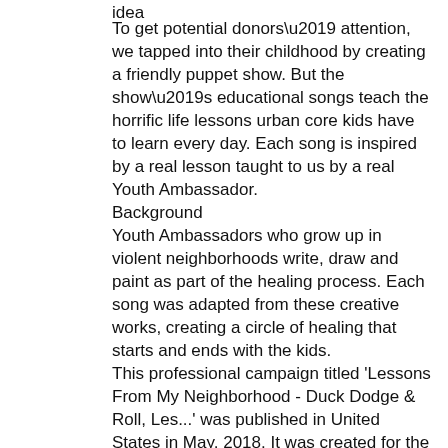idea
To get potential donors’ attention, we tapped into their childhood by creating a friendly puppet show. But the show’s educational songs teach the horrific life lessons urban core kids have to learn every day. Each song is inspired by a real lesson taught to us by a real Youth Ambassador.
Background
Youth Ambassadors who grow up in violent neighborhoods write, draw and paint as part of the healing process. Each song was adapted from these creative works, creating a circle of healing that starts and ends with the kids.
This professional campaign titled 'Lessons From My Neighborhood - Duck Dodge &amp; Roll, Les...' was published in United States in May, 2018. It was created for the brand: Youth Ambassadors, by ad agency: VML. This Content medium campaign is related to the Public Interest, NGO industry and